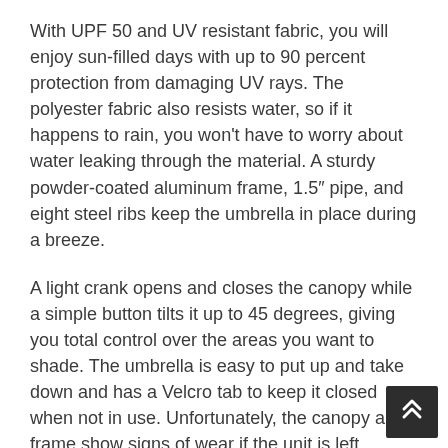With UPF 50 and UV resistant fabric, you will enjoy sun-filled days with up to 90 percent protection from damaging UV rays. The polyester fabric also resists water, so if it happens to rain, you won't have to worry about water leaking through the material. A sturdy powder-coated aluminum frame, 1.5" pipe, and eight steel ribs keep the umbrella in place during a breeze.
A light crank opens and closes the canopy while a simple button tilts it up to 45 degrees, giving you total control over the areas you want to shade. The umbrella is easy to put up and take down and has a Velcro tab to keep it closed when not in use. Unfortunately, the canopy and frame show signs of wear if the unit is left outdoors all year.
KEY FEATURES:
Length and Breadth:7.8 feet height and 9 feet